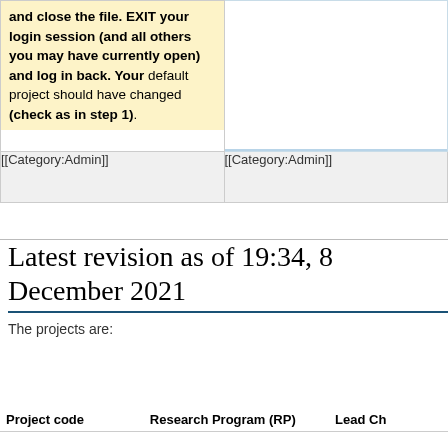|  |  |
| --- | --- |
| and close the file. EXIT your login session (and all others you may have currently open) and log in back. Your default project should have changed (check as in step 1). |  |
| [[Category:Admin]] | [[Category:Admin]] |
Latest revision as of 19:34, 8 December 2021
The projects are:
| Project code | Research Program (RP) | Lead Ch |
| --- | --- | --- |